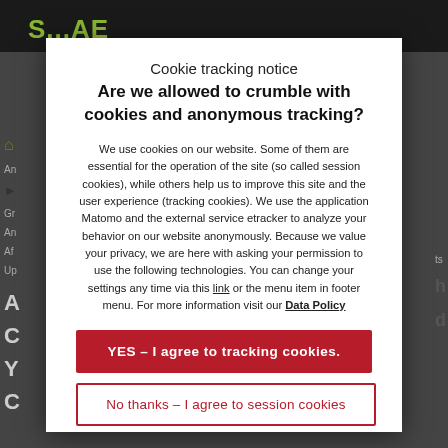S...AE
Cookie tracking notice
Are we allowed to crumble with cookies and anonymous tracking?
We use cookies on our website. Some of them are essential for the operation of the site (so called session cookies), while others help us to improve this site and the user experience (tracking cookies). We use the application Matomo and the external service etracker to analyze your behavior on our website anonymously. Because we value your privacy, we are here with asking your permission to use the following technologies. You can change your settings any time via this link or the menu item in footer menu. For more information visit our Data Policy
YES – I agree to tracking cookies.
No thanks – I agree to session cookies